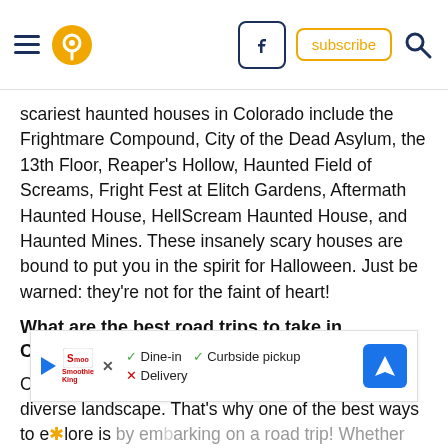[Navigation header with hamburger menu, pin/location icon, Facebook button, Subscribe button, Search icon]
scariest haunted houses in Colorado include the Frightmare Compound, City of the Dead Asylum, the 13th Floor, Reaper's Hollow, Haunted Field of Screams, Fright Fest at Elitch Gardens, Aftermath Haunted House, HellScream Haunted House, and Haunted Mines. These insanely scary houses are bound to put you in the spirit for Halloween. Just be warned: they're not for the faint of heart!
What are the best road trips to take in Colorado?
Colorado is a vast state filled with an incredibly diverse landscape. That's why one of the best ways to explore is by embarking on a road trip! Whether you're looking... check out our fall foliage road trip through Colorado. Or, perhaps you enjoy the state's haunted attractions are curious to